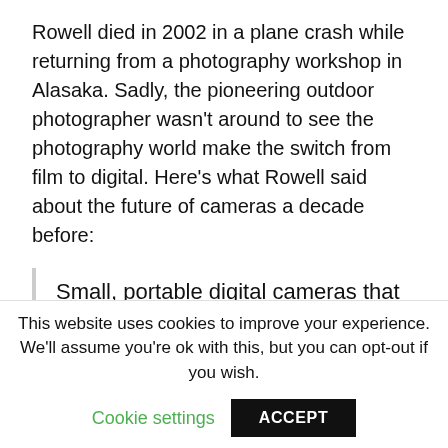Rowell died in 2002 in a plane crash while returning from a photography workshop in Alasaka. Sadly, the pioneering outdoor photographer wasn't around to see the photography world make the switch from film to digital. Here's what Rowell said about the future of cameras a decade before:
Small, portable digital cameras that exceed the performance of an off-the-shelf Nikon using 35mm slide film are further away from current reality than the
This website uses cookies to improve your experience. We'll assume you're ok with this, but you can opt-out if you wish.